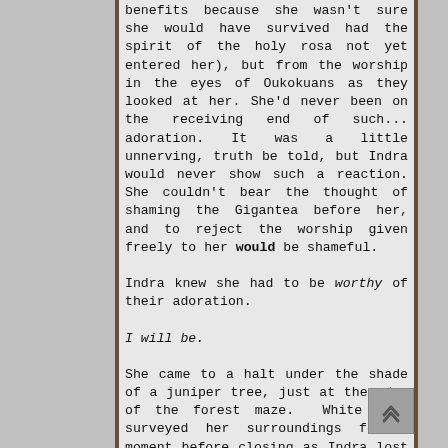benefits because she wasn't sure she would have survived had the spirit of the holy rosa not yet entered her), but from the worship in the eyes of Oukokuans as they looked at her. She'd never been on the receiving end of such... adoration. It was a little unnerving, truth be told, but Indra would never show such a reaction. She couldn't bear the thought of shaming the Gigantea before her, and to reject the worship given freely to her would be shameful.

Indra knew she had to be worthy of their adoration.

I will be.

She came to a halt under the shade of a juniper tree, just at the edge of the forest maze. White eyes surveyed her surroundings for a moment before closing as Indra lost herself in her thoughts once more.